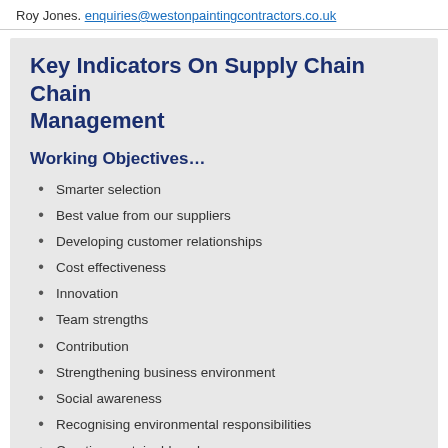Roy Jones. enquiries@westonpaintingcontractors.co.uk
Key Indicators On Supply Chain Management
Working Objectives…
Smarter selection
Best value from our suppliers
Developing customer relationships
Cost effectiveness
Innovation
Team strengths
Contribution
Strengthening business environment
Social awareness
Recognising environmental responsibilities
Creating sustainable values
Sustainable development
Continuous improvement
Capability to deliver